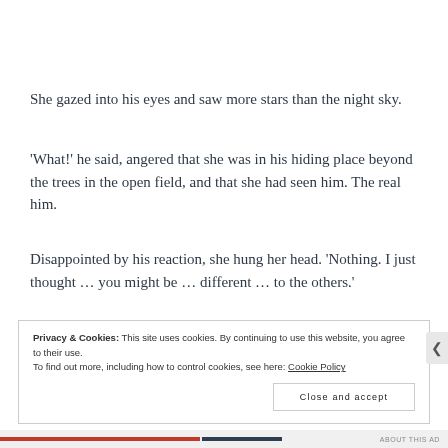She gazed into his eyes and saw more stars than the night sky.
'What!' he said, angered that she was in his hiding place beyond the trees in the open field, and that she had seen him. The real him.
Disappointed by his reaction, she hung her head. 'Nothing. I just thought … you might be … different … to the others.'
Privacy & Cookies: This site uses cookies. By continuing to use this website, you agree to their use.
To find out more, including how to control cookies, see here: Cookie Policy
Close and accept